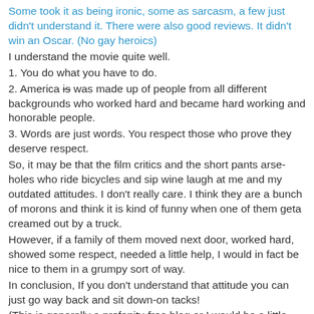Some took it as being ironic, some as sarcasm, a few just didn't understand it. There were also good reviews. It didn't win an Oscar. (No gay heroics)
I understand the movie quite well.
1. You do what you have to do.
2. America is was made up of people from all different backgrounds who worked hard and became hard working and honorable people.
3. Words are just words. You respect those who prove they deserve respect.
So, it may be that the film critics and the short pants arse-holes who ride bicycles and sip wine laugh at me and my outdated attitudes. I don't really care. I think they are a bunch of morons and think it is kind of funny when one of them geta creamed out by a truck.
However, if a family of them moved next door, worked hard, showed some respect, needed a little help, I would in fact be nice to them in a grumpy sort of way.
In conclusion, If you don't understand that attitude you can just go way back and sit down-on tacks!
(This is generally a profanity-free blog or I would be a little more concise and specific)